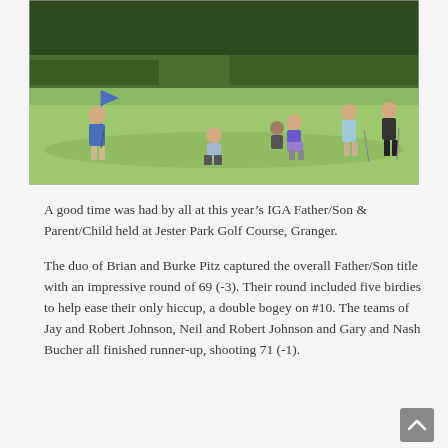[Figure (photo): Golfers on a putting green at Jester Park Golf Course. A person in a blue shirt holds the flag on the left, another golfer crouches in the center, and a group of golfers including a woman in a purple skirt and others are visible on the right. Trees line the background.]
A good time was had by all at this year's IGA Father/Son & Parent/Child held at Jester Park Golf Course, Granger.
The duo of Brian and Burke Pitz captured the overall Father/Son title with an impressive round of 69 (-3). Their round included five birdies to help ease their only hiccup, a double bogey on #10. The teams of Jay and Robert Johnson, Neil and Robert Johnson and Gary and Nash Bucher all finished runner-up, shooting 71 (-1).